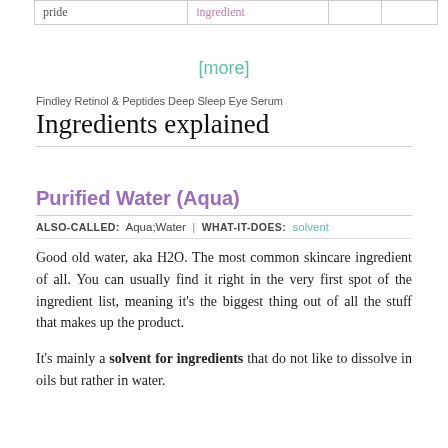| pride | ingredient |  |  |
| --- | --- | --- | --- |
[more]
Findley Retinol & Peptides Deep Sleep Eye Serum
Ingredients explained
Purified Water (Aqua)
ALSO-CALLED: Aqua;Water | WHAT-IT-DOES: solvent
Good old water, aka H2O. The most common skincare ingredient of all. You can usually find it right in the very first spot of the ingredient list, meaning it's the biggest thing out of all the stuff that makes up the product.
It's mainly a solvent for ingredients that do not like to dissolve in oils but rather in water.